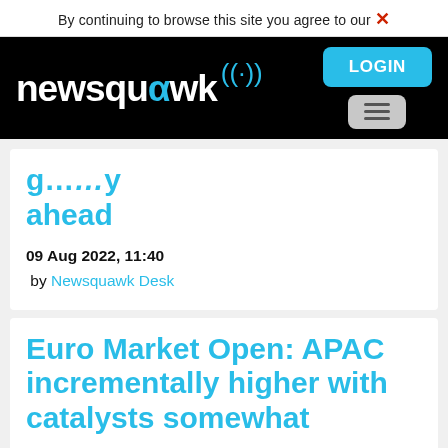By continuing to browse this site you agree to our ✕
[Figure (logo): Newsquawk logo on black navigation bar with LOGIN button and hamburger menu]
g...y ahead
09 Aug 2022, 11:40
 by Newsquawk Desk
Euro Market Open: APAC incrementally higher with catalysts somewhat